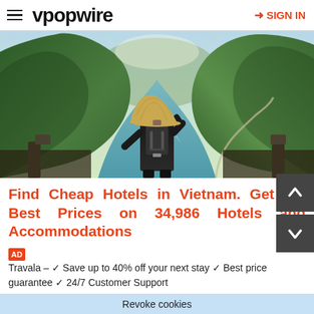vpopwire  SIGN IN
[Figure (photo): Person wearing a Vietnamese conical hat and backpack, viewed from behind, looking out over a scenic river valley flanked by steep green karst mountains in Vietnam.]
Find Cheap Hotels in Vietnam. Get the Best Prices on 34,986 Hotels and Accommodations
AD  Travala – ✓ Save up to 40% off your next stay ✓ Best price guarantee ✓ 24/7 Customer Support
Revoke cookies